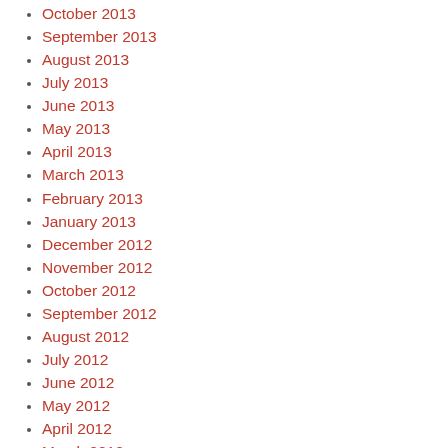October 2013
September 2013
August 2013
July 2013
June 2013
May 2013
April 2013
March 2013
February 2013
January 2013
December 2012
November 2012
October 2012
September 2012
August 2012
July 2012
June 2012
May 2012
April 2012
March 2012
February 2012
January 2012
December 2011
November 2011